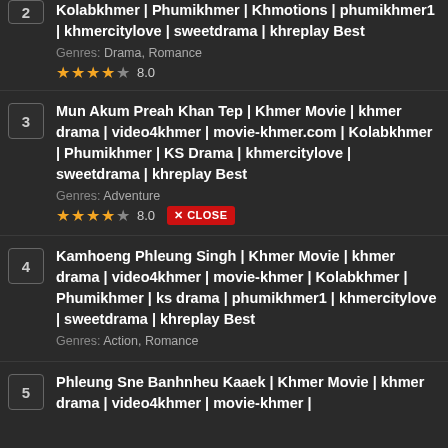Kolabkhmer | Phumikhmer | Khmotions | phumikhmer1 | khmercitylove | sweetdrama | khreplay Best
Genres: Drama, Romance
Rating: 8.0
3. Mun Akum Preah Khan Tep | Khmer Movie | khmer drama | video4khmer | movie-khmer.com | Kolabkhmer | Phumikhmer | KS Drama | khmercitylove | sweetdrama | khreplay Best
Genres: Adventure
Rating: 8.0
[CLOSE button visible]
4. Kamhoeng Phleung Singh | Khmer Movie | khmer drama | video4khmer | movie-khmer | Kolabkhmer | Phumikhmer | ks drama | phumikhmer1 | khmercitylove | sweetdrama | khreplay Best
Genres: Action, Romance
5. Phleung Sne Banhnheu Kaaek | Khmer Movie | khmer drama | video4khmer | movie-khmer | [partial]